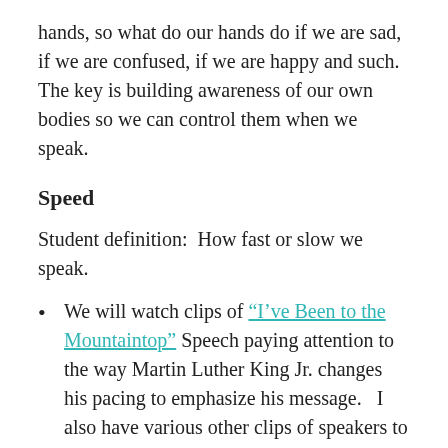hands, so what do our hands do if we are sad, if we are confused, if we are happy and such.  The key is building awareness of our own bodies so we can control them when we speak.
Speed
Student definition:  How fast or slow we speak.
We will watch clips of “I’ve Been to the Mountaintop” Speech paying attention to the way Martin Luther King Jr. changes his pacing to emphasize his message.   I also have various other clips of speakers to show up, just snippets so they can see speakers speak well.  It is important that students get a sense of many types of speakers, male and